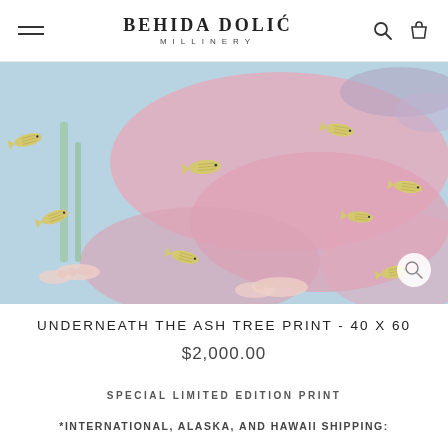BEHIDA DOLIĆ MILLINERY
[Figure (illustration): Artistic illustration showing figures underwater with golden fish swimming around. The background is light blue with soft pink shapes representing bodies/fabric. Multiple small golden fish are scattered throughout the composition.]
UNDERNEATH THE ASH TREE PRINT - 40 X 60
$2,000.00
SPECIAL LIMITED EDITION PRINT
*INTERNATIONAL, ALASKA, AND HAWAII SHIPPING: